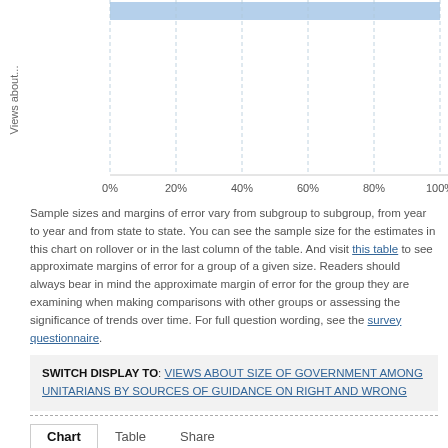[Figure (continuous-plot): Partial horizontal bar chart showing 'Views about...' on y-axis and percentage x-axis from 0% to 100% with dashed vertical gridlines. Only the top portion of the chart is visible, showing grid area with light blue top bar region.]
Sample sizes and margins of error vary from subgroup to subgroup, from year to year and from state to state. You can see the sample size for the estimates in this chart on rollover or in the last column of the table. And visit this table to see approximate margins of error for a group of a given size. Readers should always bear in mind the approximate margin of error for the group they are examining when making comparisons with other groups or assessing the significance of trends over time. For full question wording, see the survey questionnaire.
SWITCH DISPLAY TO: VIEWS ABOUT SIZE OF GOVERNMENT AMONG UNITARIANS BY SOURCES OF GUIDANCE ON RIGHT AND WRONG